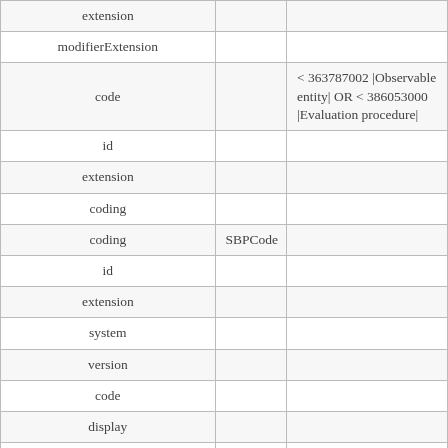| Field | Slice | Constraint |
| --- | --- | --- |
| extension |  |  |
| modifierExtension |  |  |
| code |  | < 363787002 |Observable entity| OR < 386053000 |Evaluation procedure| |
| id |  |  |
| extension |  |  |
| coding |  |  |
| coding | SBPCode |  |
| id |  |  |
| extension |  |  |
| system |  |  |
| version |  |  |
| code |  |  |
| display |  |  |
| userSelected |  |  |
| text |  |  |
| value[x] |  | 363714003 |Interprets| < 441742003 |Evaluation finding| |
| id |  |  |
| extension |  |  |